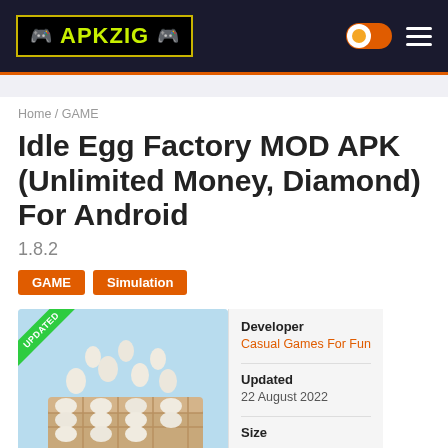APKZIG
Home / GAME
Idle Egg Factory MOD APK (Unlimited Money, Diamond) For Android
1.8.2
GAME
Simulation
[Figure (screenshot): Idle Egg Factory game screenshot showing eggs on a tray against a blue background, with an UPDATED banner in green on the top-left corner.]
| Field | Value |
| --- | --- |
| Developer | Casual Games For Fun |
| Updated | 22 August 2022 |
| Size |  |